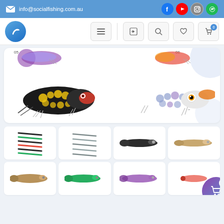info@socialfishing.com.au
[Figure (screenshot): Social Fishing website navigation bar with logo, menu, login, search, wishlist, and cart icons]
[Figure (photo): Fishing lures product display showing color variants labeled 05, 06, 07, 08 - includes frog-style lures in purple/gold/blue patterns with treble hooks]
[Figure (photo): Small fishing lure product thumbnails in a 4-column grid - various slim lure designs in multiple colors]
[Figure (photo): Second row of small fishing lure product thumbnails - individual slim lures in tan, green, purple/blue colors]